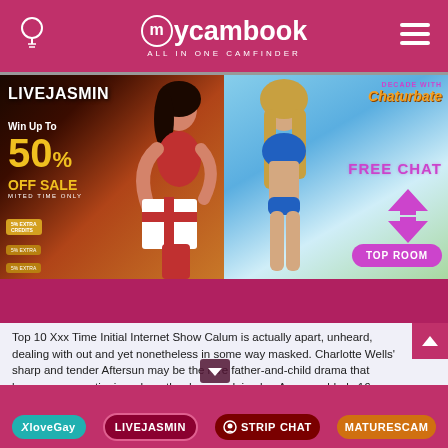mycambook ALL IN ONE CAMFINDER
[Figure (screenshot): LiveJasmin advertisement: Win Up To 50% OFF SALE, LIMITED TIME ONLY, woman in red dress holding gift box, golden background]
[Figure (screenshot): Chaturbate advertisement: DECADE WITH Chaturbate, FREE CHAT, TOP ROOM, woman in blue bikini on beach background]
Top 10 Xxx Time Initial Internet Show Calum is actually apart, unheard, dealing with out and yet nonetheless in some way masked. Charlotte Wells' sharp and tender Aftersun may be the rare father-and-child drama that leaves you questioning whom the da...ses doing be. Anyone elderly 16
XloveGay | LIVEJASMIN | STRIPCHAT | MATURESCAM